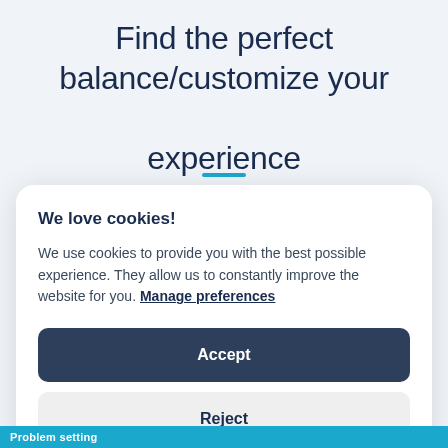Find the perfect balance/customize your experience
We love cookies!
We use cookies to provide you with the best possible experience. They allow us to constantly improve the website for you. Manage preferences
Accept
Reject
Problem setting